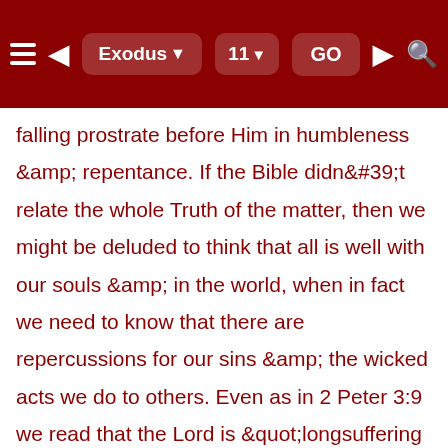Exodus 11 GO
falling prostrate before Him in humbleness &amp; repentance. If the Bible didn&#39;t relate the whole Truth of the matter, then we might be deluded to think that all is well with our souls &amp; in the world, when in fact we need to know that there are repercussions for our sins &amp; the wicked acts we do to others. Even as in 2 Peter 3:9 we read that the Lord is &quot;longsuffering to us-ward, not willing that any should perish, but that all should come to repentance.&quot;